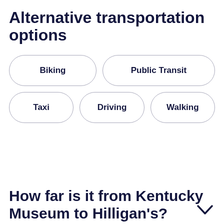Alternative transportation options
Biking
Public Transit
Taxi
Driving
Walking
How far is it from Kentucky Museum to Hilligan's?